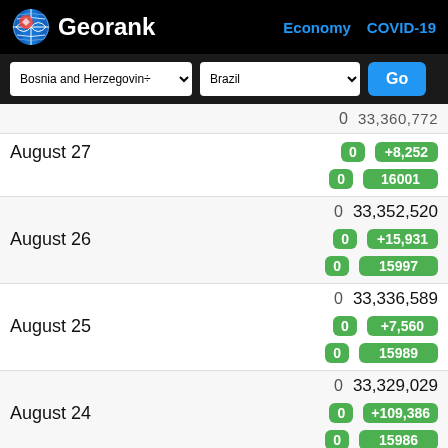Georank  Economy  COVID-19
Bosnia and Herzegovina  Brazil  Go
| Date | Bosnia Val | Brazil Total | Brazil Change | Brazil Deaths |
| --- | --- | --- | --- | --- |
| August 27 | 0 |  | +8,252 | 16001 |
| August 26 | 0 | 33,352,520 | +15,931 | 15997 |
| August 25 | 0 | 33,336,589 | +7,560 | 15989 |
| August 24 | 0 | 33,329,029 | +109,386 | 15986 |
| August 23 | 0 | 33,219,643 | +23,500 |  |